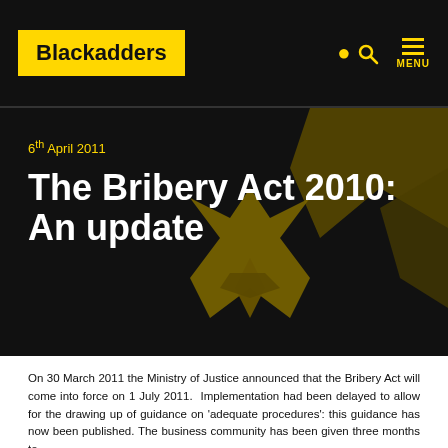Blackadders
6th April 2011
The Bribery Act 2010: An update
On 30 March 2011 the Ministry of Justice announced that the Bribery Act will come into force on 1 July 2011.  Implementation had been delayed to allow for the drawing up of guidance on 'adequate procedures': this guidance has now been published. The business community has been given three months to